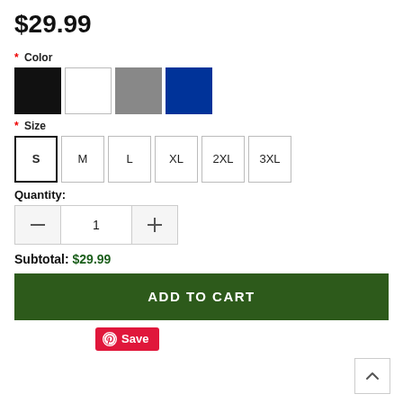$29.99
* Color
[Figure (screenshot): Four color swatches: black, white, gray, navy blue]
* Size
[Figure (screenshot): Six size buttons: S (selected), M, L, XL, 2XL, 3XL]
Quantity:
[Figure (screenshot): Quantity selector with minus button, value 1, plus button]
Subtotal: $29.99
ADD TO CART
Save